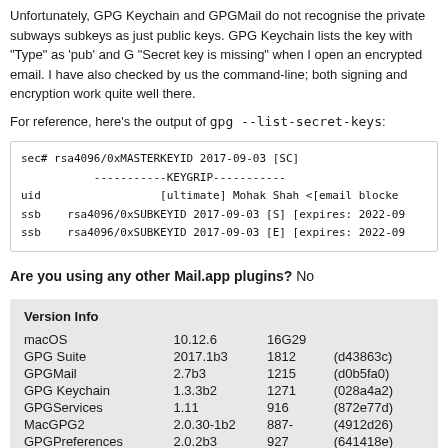Unfortunately, GPG Keychain and GPGMail do not recognise the private subways subkeys as just public keys. GPG Keychain lists the key with "Type" as 'pub' and G "Secret key is missing" when I open an encrypted email. I have also checked by us the command-line; both signing and encryption work quite well there.
For reference, here's the output of gpg --list-secret-keys:
sec#   rsa4096/0xMASTERKEYID 2017-09-03 [SC]
           -----------KEYGRIP-----------
uid                  [ultimate] Mohak Shah <[email blocke
ssb    rsa4096/0xSUBKEYID 2017-09-03 [S] [expires: 2022-09
ssb    rsa4096/0xSUBKEYID 2017-09-03 [E] [expires: 2022-09
Are you using any other Mail.app plugins? No
|  |  |  |  |
| --- | --- | --- | --- |
| macOS | 10.12.6 | 16G29 |  |
| GPG Suite | 2017.1b3 | 1812 | (d43863c) |
| GPGMail | 2.7b3 | 1215 | (d0b5fa0) |
| GPG Keychain | 1.3.3b2 | 1271 | (028a4a2) |
| GPGServices | 1.11 | 916 | (872e77d) |
| MacGPG2 | 2.0.30-1b2 | 887- | (4912d26) |
| GPGPreferences | 2.0.2b3 | 927 | (641418e) |
| Libmacgpg | 0.7 | 782 | (536bf51) |